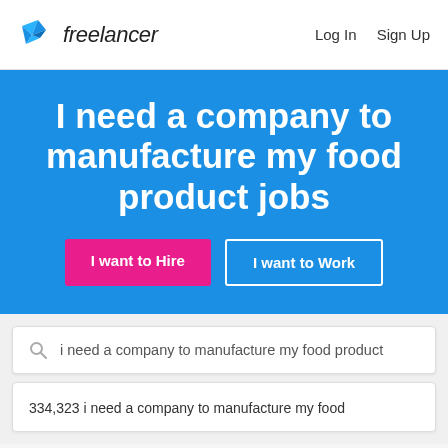[Figure (logo): Freelancer.com logo with blue geometric bird/paper-plane icon and 'freelancer' text]
Log In   Sign Up
I need a company to manufacture my food product jobs
I want to Hire   I want to Work
i need a company to manufacture my food product
334,323 i need a company to manufacture my food